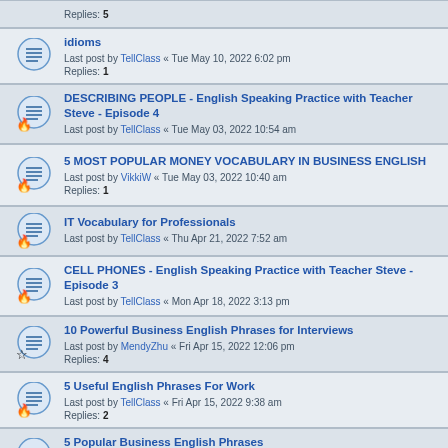Replies: 5
idioms
Last post by TellClass « Tue May 10, 2022 6:02 pm
Replies: 1
DESCRIBING PEOPLE - English Speaking Practice with Teacher Steve - Episode 4
Last post by TellClass « Tue May 03, 2022 10:54 am
5 MOST POPULAR MONEY VOCABULARY IN BUSINESS ENGLISH
Last post by VikkiW « Tue May 03, 2022 10:40 am
Replies: 1
IT Vocabulary for Professionals
Last post by TellClass « Thu Apr 21, 2022 7:52 am
CELL PHONES - English Speaking Practice with Teacher Steve - Episode 3
Last post by TellClass « Mon Apr 18, 2022 3:13 pm
10 Powerful Business English Phrases for Interviews
Last post by MendyZhu « Fri Apr 15, 2022 12:06 pm
Replies: 4
5 Useful English Phrases For Work
Last post by TellClass « Fri Apr 15, 2022 9:38 am
Replies: 2
5 Popular Business English Phrases
Last post by maidensedate « Thu Apr 14, 2022 5:10 pm
Replies: 2
English Speaking Practice with Teacher Steve - Episode 2